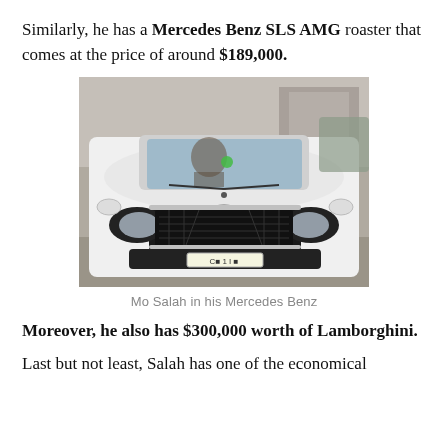Similarly, he has a Mercedes Benz SLS AMG roaster that comes at the price of around $189,000.
[Figure (photo): Front view of a white Mercedes Benz SUV/GLE AMG with license plate partially visible, photographed in a parking area. A person is visible through the windshield.]
Mo Salah in his Mercedes Benz
Moreover, he also has $300,000 worth of Lamborghini.
Last but not least, Salah has one of the economical